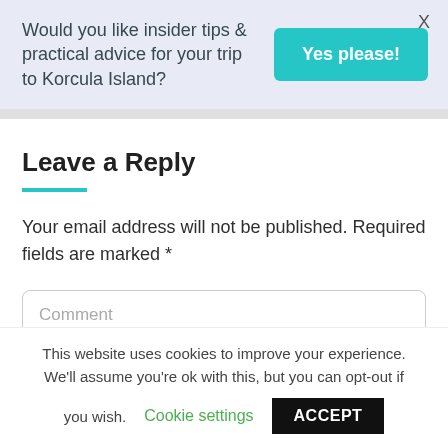Would you like insider tips & practical advice for your trip to Korcula Island?
Yes please!
X
Leave a Reply
Your email address will not be published. Required fields are marked *
Comment
This website uses cookies to improve your experience. We'll assume you're ok with this, but you can opt-out if you wish.
Cookie settings
ACCEPT